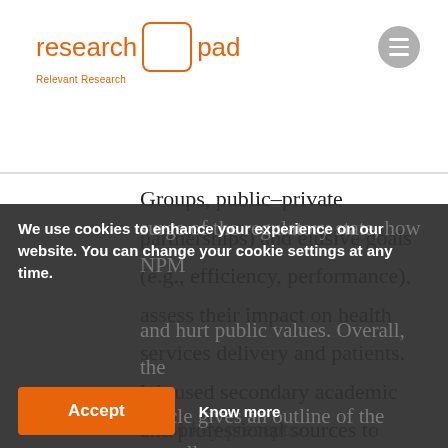research pad — Relevant Research
Groups, public–private partnerships) and elusive goals (e.g., efficiency, performance), assess their impact on health services delivery and patients. We used secondary academic and professional sources to examine the surge of the regulatory state, how NPM and hurt public values. Overall, the article gives an outline of the overall NPM key precepts.
We use cookies to enhance your experience on our website. You can change your cookie settings at any time.